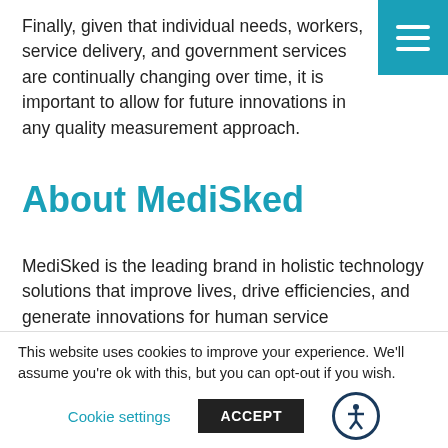Finally, given that individual needs, workers, service delivery, and government services are continually changing over time, it is important to allow for future innovations in any quality measurement approach.
About MediSked
MediSked is the leading brand in holistic technology solutions that improve lives, drive efficiencies, and generate innovations for human service organizations that support people with intellectual and developmental disabilities. Our IT processes support providers, state and county oversight agencies, care coordination entities, and payers as
This website uses cookies to improve your experience. We'll assume you're ok with this, but you can opt-out if you wish.
Cookie settings
ACCEPT